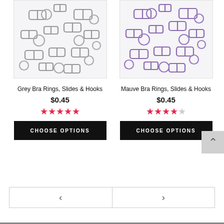[Figure (photo): Grey bra rings, slides and hooks scattered on white background]
[Figure (photo): Mauve/purple bra rings, slides and hooks scattered on white background]
Grey Bra Rings, Slides & Hooks
Mauve Bra Rings, Slides & Hooks
$0.45
$0.45
CHOOSE OPTIONS
CHOOSE OPTIONS